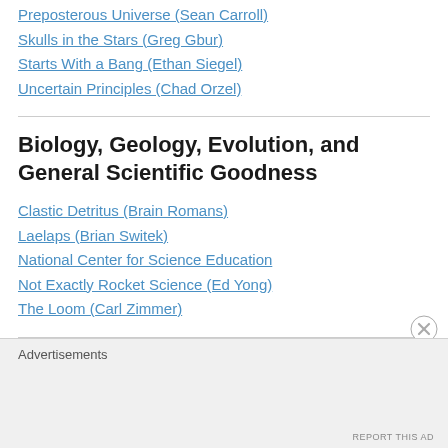Preposterous Universe (Sean Carroll)
Skulls in the Stars (Greg Gbur)
Starts With a Bang (Ethan Siegel)
Uncertain Principles (Chad Orzel)
Biology, Geology, Evolution, and General Scientific Goodness
Clastic Detritus (Brain Romans)
Laelaps (Brian Switek)
National Center for Science Education
Not Exactly Rocket Science (Ed Yong)
The Loom (Carl Zimmer)
Advertisements
REPORT THIS AD